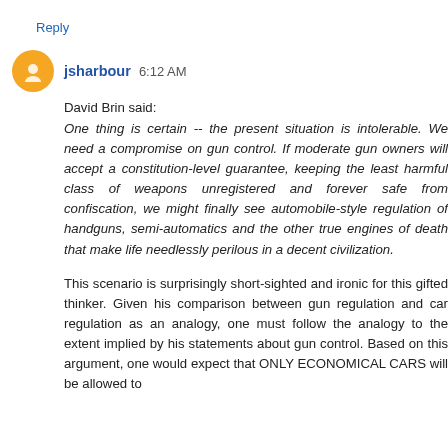Reply
jsharbour  6:12 AM
David Brin said:
One thing is certain -- the present situation is intolerable. We need a compromise on gun control. If moderate gun owners will accept a constitution-level guarantee, keeping the least harmful class of weapons unregistered and forever safe from confiscation, we might finally see automobile-style regulation of handguns, semi-automatics and the other true engines of death that make life needlessly perilous in a decent civilization.
This scenario is surprisingly short-sighted and ironic for this gifted thinker. Given his comparison between gun regulation and car regulation as an analogy, one must follow the analogy to the extent implied by his statements about gun control. Based on this argument, one would expect that ONLY ECONOMICAL CARS will be allowed to